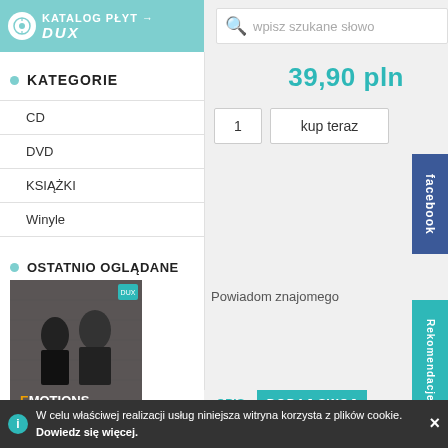KATALOG PŁYT → DUX
wpisz szukane słowo
KATEGORIE
CD
DVD
KSIĄŻKI
Winyle
OSTATNIO OGLĄDANE
[Figure (photo): Album cover for EMOTIONS - Flute and Organ by Długosz, Perucki showing two men in tuxedos in front of a brick wall]
EMOTIONS - FLUTE AND ORGAN • DŁUGOSZ, PERUCKI
39,90 pln
1
kup teraz
facebook
Powiadom znajomego
OPIS
DODAJ SWOJ
Rekomendacje
DUX 1820
Berceuse
W celu właściwej realizacji usług niniejsza witryna korzysta z plików cookie. Dowiedz się więcej.